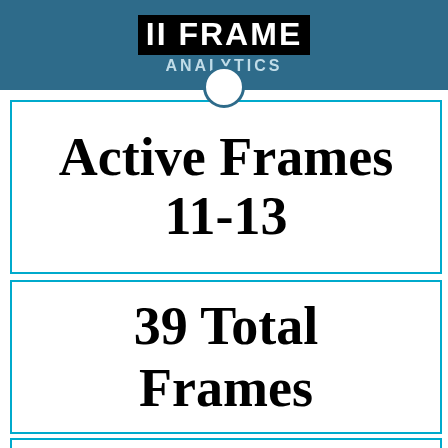II Frame Analytics
Active Frames
11-13
39 Total
Frames
IASA Frame